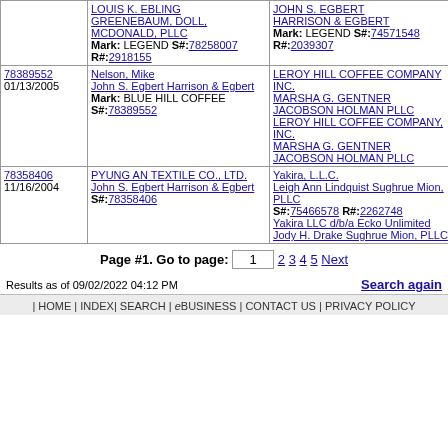| Serial/Date | Applicant/Mark | Defendant/Counsel |
| --- | --- | --- |
|  | LOUIS K. EBLING
GREENEBAUM, DOLL, MCDONALD, PLLC
Mark: LEGEND S#:78258007 R#:2918155 | JOHN S. EGBERT
HARRISON & EGBERT
Mark: LEGEND S#:74571548 R#:2039307 |
| 78389552
01/13/2005 | Nelson, Mike
John S. Egbert Harrison & Egbert
Mark: BLUE HILL COFFEE S#:78389552 | LEROY HILL COFFEE COMPANY INC.
MARSHA G. GENTNER
JACOBSON HOLMAN PLLC
LEROY HILL COFFEE COMPANY, INC.
MARSHA G. GENTNER
JACOBSON HOLMAN PLLC |
| 78358406
11/16/2004 | PYUNG AN TEXTILE CO., LTD.
John S. Egbert Harrison & Egbert
S#:78358406 | Yakira, L.L.C.
Leigh Ann Lindquist Sughrue Mion, PLLC
S#:75466578 R#:2262748
Yakira LLC d/b/a Ecko Unlimited
Jody H. Drake Sughrue Mion, PLLC |
Page #1. Go to page: 1  2 3 4 5 Next
Results as of 09/02/2022 04:12 PM
Search again
| HOME | INDEX| SEARCH | eBUSINESS | CONTACT US | PRIVACY POLICY